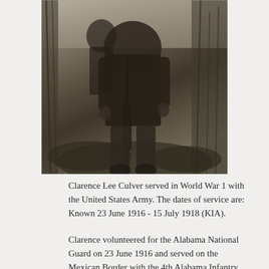[Figure (photo): Black and white historical photograph of a soldier in military uniform holding a rifle, standing in vegetation/brush. The image is cropped showing primarily the torso and lower body of the figure.]
Clarence Lee Culver served in World War 1 with the United States Army. The dates of service are: Known 23 June 1916 - 15 July 1918 (KIA).
Clarence volunteered for the Alabama National Guard on 23 June 1916 and served on the Mexican Border with the 4th Alabama Infantry. When war was declared on